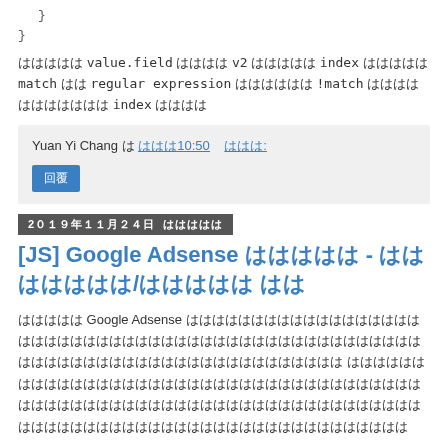}
}
ははははは value.field はははは v2 ははははは index ははははは match はは regular expression はははははは !match ははははははははははは index はははは
Yuan Yi Chang は ははは10:50　　ははは:
回覆
2019年11月24日 ははははは
[JS] Google Adsense ははははは - はは ははははは/ははははは はは
ははははは Google Adsense ははははははははははははははははははははははははははははははははははははははははははははははははははははははははははははははははははははははははははははははははははははははははははははははははははははははは はははははははははははははははははははははははははははははははははははははははははははははは
ははははははははははははははははははははははははははははははははははははははははははははははははははははははは
<script>
  (adsbygoogle = window.adsbygoogle || []).push({
    enable_page_level_ads: false